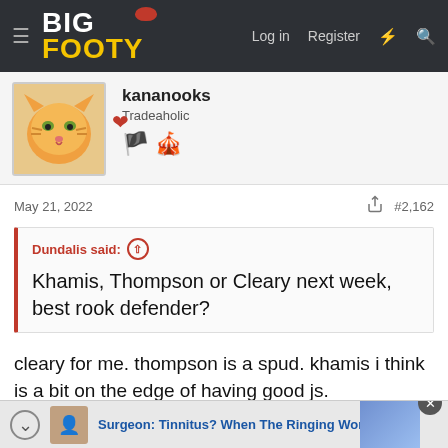BigFooty — Log in  Register
kananooks
Tradeaholic
May 21, 2022  #2,162
Dundalis said: ↑
Khamis, Thompson or Cleary next week, best rook defender?
cleary for me. thompson is a spud. khamis i think is a bit on the edge of having good js.
Surgeon: Tinnitus? When The Ringing Won't